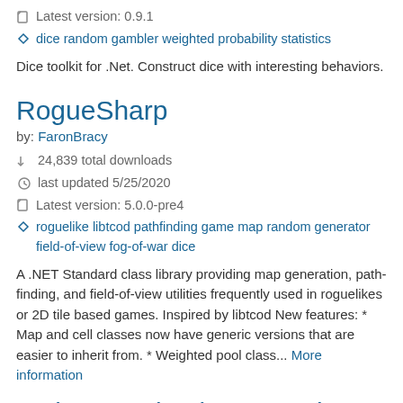Latest version: 0.9.1
dice random gambler weighted probability statistics
Dice toolkit for .Net. Construct dice with interesting behaviors.
RogueSharp
by: FaronBracy
24,839 total downloads
last updated 5/25/2020
Latest version: 5.0.0-pre4
roguelike libtcod pathfinding game map random generator field-of-view fog-of-war dice
A .NET Standard class library providing map generation, path-finding, and field-of-view utilities frequently used in roguelikes or 2D tile based games. Inspired by libtcod New features: * Map and cell classes now have generic versions that are easier to inherit from. * Weighted pool class... More information
NDice.Randomizers.Tracksatz